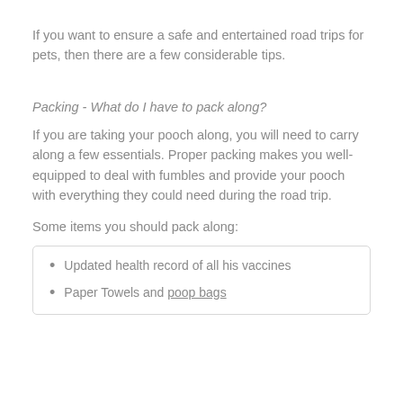If you want to ensure a safe and entertained road trips for pets, then there are a few considerable tips.
Packing - What do I have to pack along?
If you are taking your pooch along, you will need to carry along a few essentials. Proper packing makes you well-equipped to deal with fumbles and provide your pooch with everything they could need during the road trip.
Some items you should pack along:
Updated health record of all his vaccines
Paper Towels and poop bags